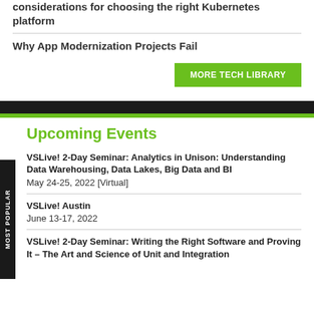considerations for choosing the right Kubernetes platform
Why App Modernization Projects Fail
MORE TECH LIBRARY
Upcoming Events
VSLive! 2-Day Seminar: Analytics in Unison: Understanding Data Warehousing, Data Lakes, Big Data and BI
May 24-25, 2022 [Virtual]
VSLive! Austin
June 13-17, 2022
VSLive! 2-Day Seminar: Writing the Right Software and Proving It – The Art and Science of Unit and Integration